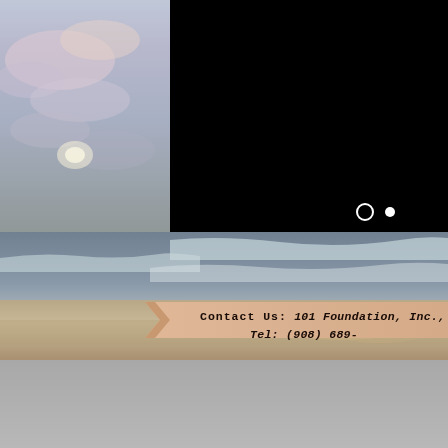[Figure (photo): Beach scene with ocean waves, sandy shore, and a dramatic sky with clouds on the left; a black panel (video/image overlay) covers the upper right portion with two navigation dots (circle outline and filled circle); a salmon/peach colored ribbon banner overlays the lower center area with contact information; the bottom of the page has a gray background section.]
Contact Us:  101 Foundation, Inc., Tel: (908) 689-